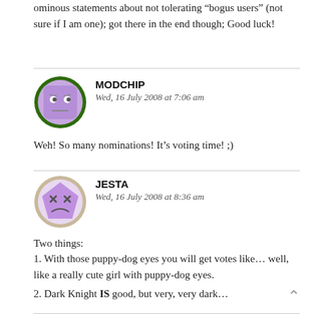ominous statements about not tolerating “bogus users” (not sure if I am one); got there in the end though; Good luck!
[Figure (illustration): Avatar for MODCHIP: a purple cartoon face with a neutral expression inside a dark green circular border]
MODCHIP
Wed, 16 July 2008 at 7:06 am
Weh! So many nominations! It’s voting time! ;)
[Figure (illustration): Avatar for JESTA: a purple cartoon face with X eyes and a sad frown on a pentagon shape, with a beige circular border]
JESTA
Wed, 16 July 2008 at 8:36 am
Two things:
1. With those puppy-dog eyes you will get votes like… well, like a really cute girl with puppy-dog eyes.
2. Dark Knight IS good, but very, very dark…